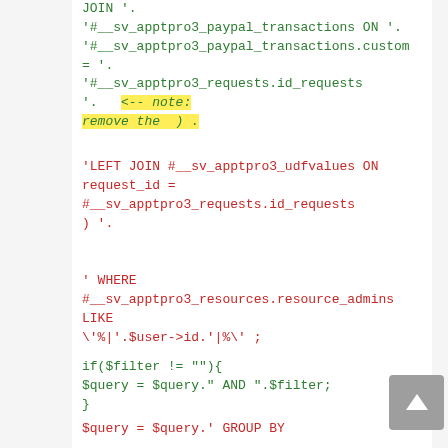JOIN '.
'#__sv_apptpro3_paypal_transactions ON '.
'#__sv_apptpro3_paypal_transactions.custom = '.
'#__sv_apptpro3_requests.id_requests '.   <-- note: remove the  ) .
'LEFT JOIN #__sv_apptpro3_udfvalues ON request_id = #__sv_apptpro3_requests.id_requests ) '.
' WHERE #__sv_apptpro3_resources.resource_admins LIKE \'%|'.$user->id.'|%\' ;
if($filter != ""){
$query = $query." AND ".$filter;
}
$query = $query.' GROUP BY